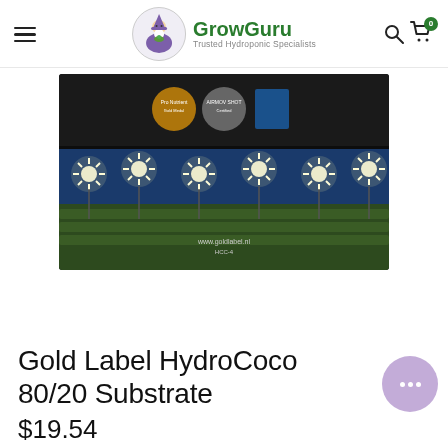GrowGuru - Trusted Hydroponic Specialists
[Figure (photo): Product image showing a commercial greenhouse/growing facility with multiple bright star-shaped grow lights illuminating rows of plants from above, dark background at top with certification logos, lush green plants below the lights, website URL visible at bottom of image]
Gold Label HydroCoco 80/20 Substrate
$19.54